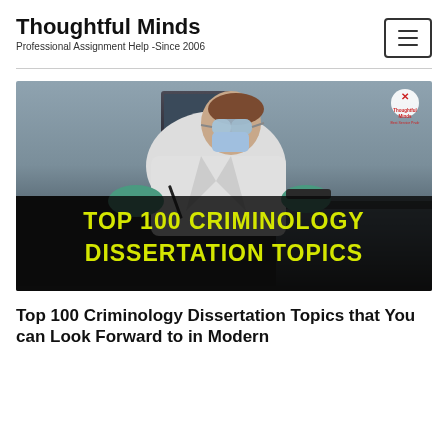Thoughtful Minds
Professional Assignment Help -Since 2006
[Figure (photo): Forensic scientist in white lab coat, safety glasses, and blue gloves working at a desk, with dark overlay showing yellow text 'TOP 100 CRIMINOLOGY DISSERTATION TOPICS' and Thoughtful Minds watermark logo in top-right corner]
Top 100 Criminology Dissertation Topics that You can Look Forward to in Modern